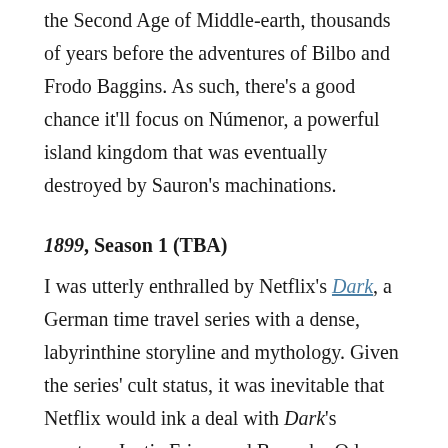the Second Age of Middle-earth, thousands of years before the adventures of Bilbo and Frodo Baggins. As such, there's a good chance it'll focus on Númenor, a powerful island kingdom that was eventually destroyed by Sauron's machinations.
1899, Season 1 (TBA)
I was utterly enthralled by Netflix's Dark, a German time travel series with a dense, labyrinthine storyline and mythology. Given the series' cult status, it was inevitable that Netflix would ink a deal with Dark's creators, Jantje Friese and Baran bo Odar. 1899 is the duo's next project, about a group of immigrants sailing for